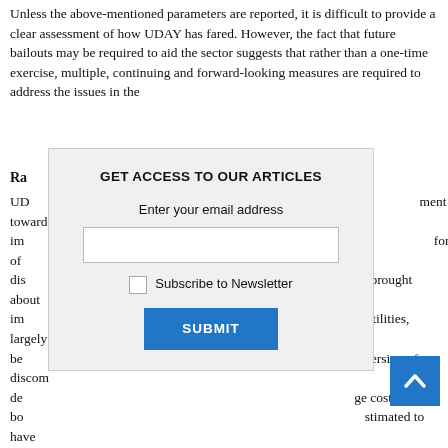Unless the above-mentioned parameters are reported, it is difficult to provide a clear assessment of how UDAY has fared. However, the fact that future bailouts may be required to aid the sector suggests that rather than a one-time exercise, multiple, continuing and forward-looking measures are required to address the issues in the
Ra
UD...ment towards improvement...formance of dis...brought about imp...utilities, largely be...version of discom de...ge cost of bo...stimated to have re...egate book loss of the UDAY states reduced significantly from Rs 515 billion in 2015-16 to Rs 150 billion in 2017-18. Thus, UDAY has met with some success on the financial performance front. On the operational performance front, while there has been improvement, there is a shortfall as compared to the envisaged levels. Moreover, the improvement has remained localised.
[Figure (other): Modal dialog overlay: GET ACCESS TO OUR ARTICLES. Contains email input field, Subscribe to Newsletter checkbox, and SUBMIT button.]